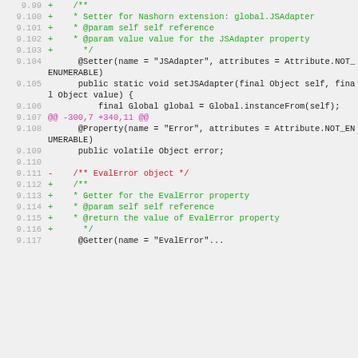[Figure (screenshot): Code diff view showing Java source code lines 9.99 through 9.117, with green lines for additions, red for deletions, purple for diff hunk headers, and black for unchanged code.]